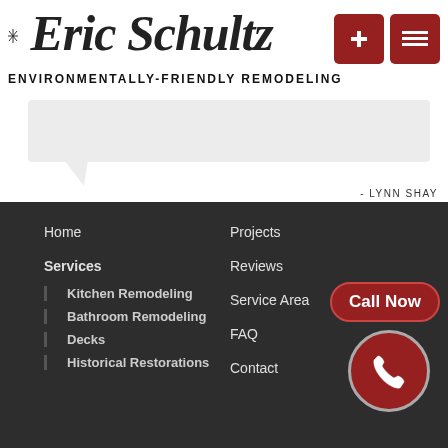Eric Schultz
ENVIRONMENTALLY-FRIENDLY REMODELING
[Figure (screenshot): Navigation buttons: plus icon and list/menu icon on dark red background]
[Figure (illustration): Light grey speech bubble / testimonial box]
- LYNN SHAY
Home
Services
Kitchen Remodeling
Bathroom Remodeling
Decks
Historical Restorations
Projects
Reviews
Service Area
FAQ
Contact
[Figure (illustration): Call Now button with phone icon in red circle]